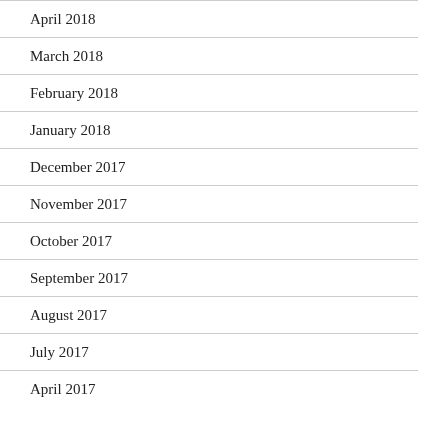April 2018
March 2018
February 2018
January 2018
December 2017
November 2017
October 2017
September 2017
August 2017
July 2017
April 2017